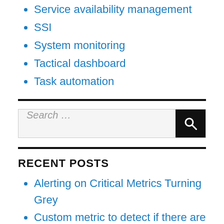Service availability management
SSI
System monitoring
Tactical dashboard
Task automation
[Figure (other): Search bar with text input and magnifying glass button]
RECENT POSTS
Alerting on Critical Metrics Turning Grey
Custom metric to detect if there are no free